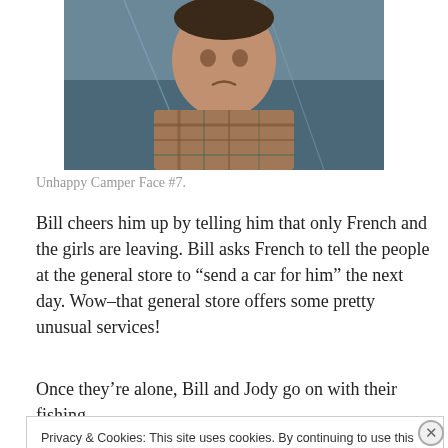[Figure (photo): A boy in a plaid shirt, cropped at chest level, dark outdoor background. Unhappy expression.]
Unhappy Camper Face #7.
Bill cheers him up by telling him that only French and the girls are leaving. Bill asks French to tell the people at the general store to “send a car for him” the next day. Wow–that general store offers some pretty unusual services!
Once they’re alone, Bill and Jody go on with their fishing.
Privacy & Cookies: This site uses cookies. By continuing to use this website, you agree to their use.
To find out more, including how to control cookies, see here: Cookie Policy